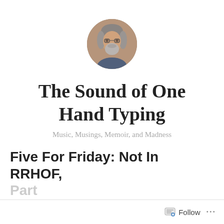[Figure (photo): Circular avatar photo of an older man with gray hair, beard, and glasses]
The Sound of One Hand Typing
Music, Musings, Memoir, and Madness
Five For Friday: Not In RRHOF, Part
Follow ...